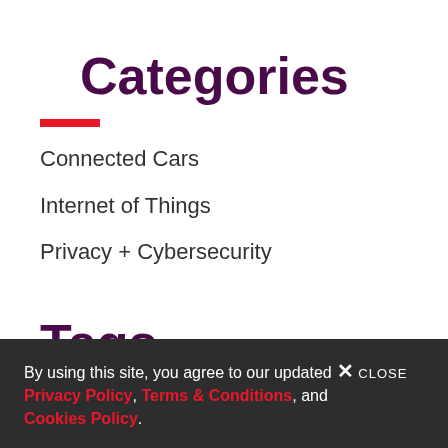Categories
Connected Cars
Internet of Things
Privacy + Cybersecurity
Tags
DDoS
NHTSA
By using this site, you agree to our updated Privacy Policy, Terms & Conditions, and Cookies Policy.